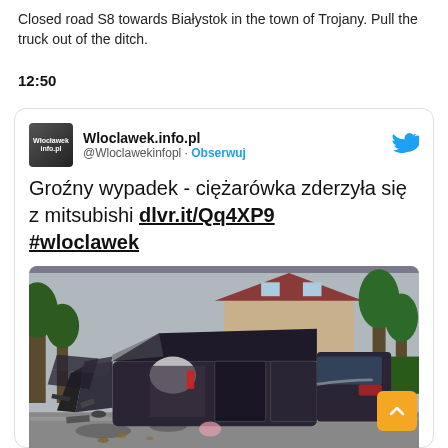Closed road S8 towards Bialystok in the town of Trojany. Pull the truck out of the ditch.
12:50
[Figure (screenshot): Embedded tweet from Wloclawek.info.pl (@Wloclawekinfopl) with text 'Groźny wypadek - ciężarówka zderzyła się z mitsubishi dlvr.it/Qq4XP9 #wloclawek' and a photo of a severely damaged dark-colored car after a collision.]